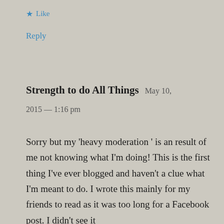★ Like
Reply
Strength to do All Things   May 10, 2015 — 1:16 pm
Sorry but my 'heavy moderation ' is an result of me not knowing what I'm doing! This is the first thing I've ever blogged and haven't a clue what I'm meant to do. I wrote this mainly for my friends to read as it was too long for a Facebook post. I didn't see it